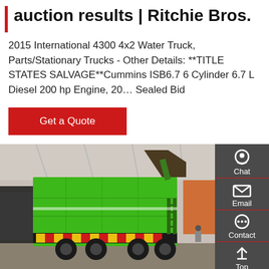auction results | Ritchie Bros.
2015 International 4300 4x2 Water Truck, Parts/Stationary Trucks - Other Details: **TITLE STATES SALVAGE**Cummins ISB6.7 6 Cylinder 6.7 L Diesel 200 hp Engine, 20… Sealed Bid
Get a Quote
[Figure (photo): Green garbage/waste truck photographed at an indoor exhibition or trade show, rear-side view showing the lifting mechanism raised, with red/yellow hazard stripe markings on the lower rear. Indoor exhibition hall with other vehicles and people visible in background.]